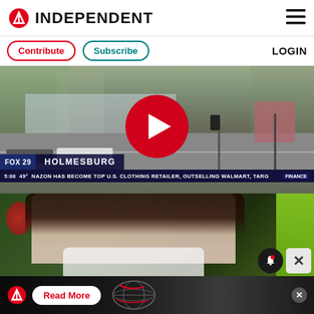INDEPENDENT
Contribute  Subscribe  LOGIN
[Figure (screenshot): Video thumbnail showing a street scene in Holmesburg with a red play button overlay, FOX 29 news ticker showing 'HOLMESBURG' and scrolling text 'NAZON HAS BECOME TOP U.S. CLOTHING RETAILER, OUTSELLING WALMART, TARG' with FINANCE badge]
[Figure (photo): Photo of a smiling woman with dark hair, wearing a white jacket, with green foliage in background]
[Figure (screenshot): Advertisement banner for The Independent with logo, 'Read More' button, and globe graphic with close X button]